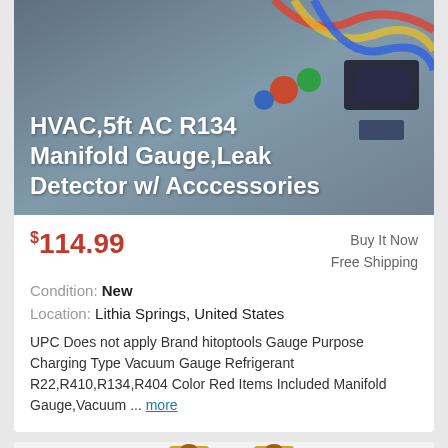HVAC,5ft AC R134 Manifold Gauge,Leak Detector w/ Acccessories
$114.99
Buy It Now
Free Shipping
Condition: New
Location: Lithia Springs, United States
UPC Does not apply Brand hitoptools Gauge Purpose Charging Type Vacuum Gauge Refrigerant R22,R410,R134,R404 Color Red Items Included Manifold Gauge,Vacuum ... more
[Figure (photo): Two brass HVAC refrigerant quick-connect fittings, left one with red sleeve and right one with blue sleeve, on a white background]